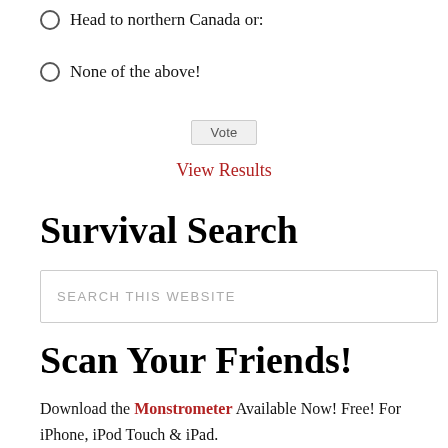Head to northern Canada or:
None of the above!
Vote
View Results
Survival Search
SEARCH THIS WEBSITE
Scan Your Friends!
Download the Monstrometer Available Now! Free! For iPhone, iPod Touch & iPad.